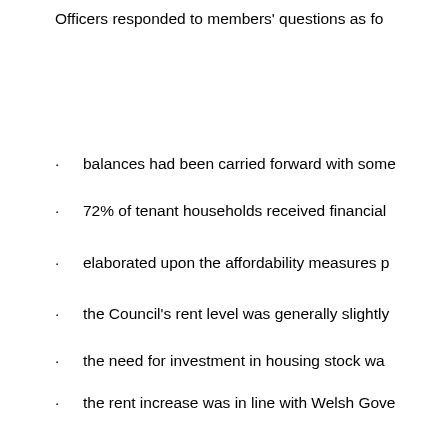Officers responded to members' questions as fo
balances had been carried forward with some
72% of tenant households received financial
elaborated upon the affordability measures p
the Council's rent level was generally slightly
the need for investment in housing stock wa
the rent increase was in line with Welsh Gove
freezing rent levels would result in a recurrin
the rent increase could not be mitigated from
it was important to make incremental change